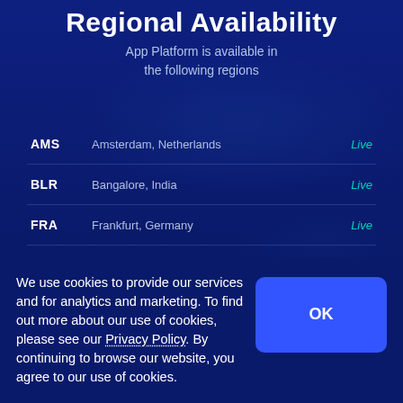Regional Availability
App Platform is available in the following regions
| Code | Location | Status |
| --- | --- | --- |
| AMS | Amsterdam, Netherlands | Live |
| BLR | Bangalore, India | Live |
| FRA | Frankfurt, Germany | Live |
| LON | London, UK | Live |
We use cookies to provide our services and for analytics and marketing. To find out more about our use of cookies, please see our Privacy Policy. By continuing to browse our website, you agree to our use of cookies.